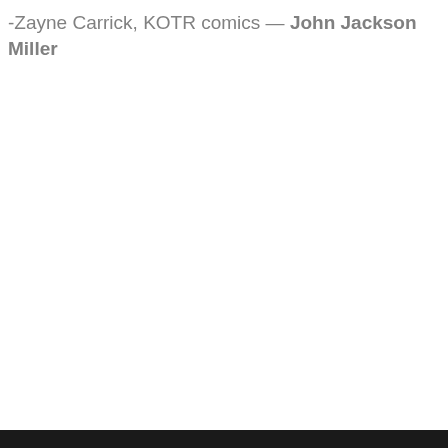-Zayne Carrick, KOTR comics — John Jackson Miller